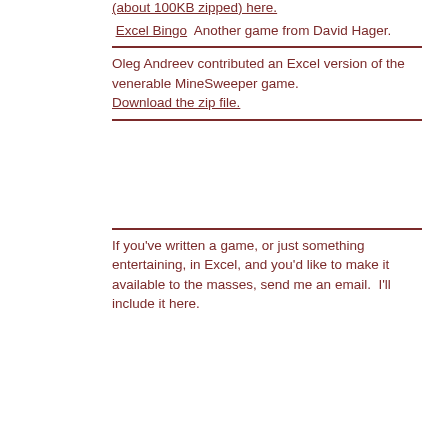(about 100KB zipped) here.
Excel Bingo  Another game from David Hager.
Oleg Andreev contributed an Excel version of the venerable MineSweeper game. Download the zip file.
If you've written a game, or just something entertaining, in Excel, and you'd like to make it available to the masses, send me an email.  I'll include it here.